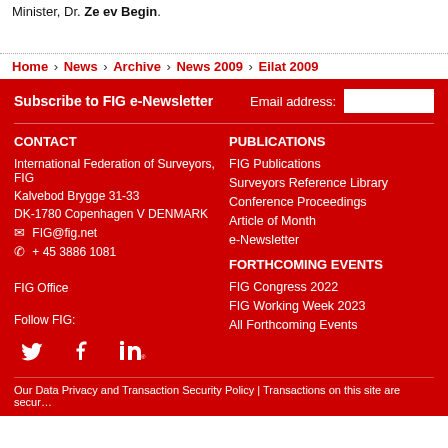Minister, Dr. Ze ev Begin.
Home › News › Archive › News 2009 › Eilat 2009
Subscribe to FIG e-Newsletter    Email address:
CONTACT
International Federation of Surveyors, FIG
Kalvebod Brygge 31-33
DK-1780 Copenhagen V DENMARK
✉ FIG@fig.net
✆ + 45 3886 1081
FIG Office
PUBLICATIONS
FIG Publications
Surveyors Reference Library
Conference Proceedings
Article of Month
e-Newsletter
FORTHCOMING EVENTS
FIG Congress 2022
FIG Working Week 2023
All Forthcoming Events
Follow FIG:
[Figure (other): Social media icons: Twitter, Facebook, LinkedIn]
Our Data Privacy and Transaction Security Policy | Transactions on this site are secur…